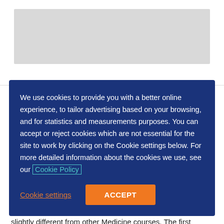We use cookies to provide you with a better online experience, to tailor advertising based on your browsing, and for statistics and measurements purposes. You can accept or reject cookies which are not essential for the site to work by clicking on the Cookie settings below. For more detailed information about the cookies we use, see our Cookie Policy
Cookie settings
ACCEPT
St Andrews
The six-year Medicine degree programme at St. Andrews is slightly different from other Medicine courses. The first